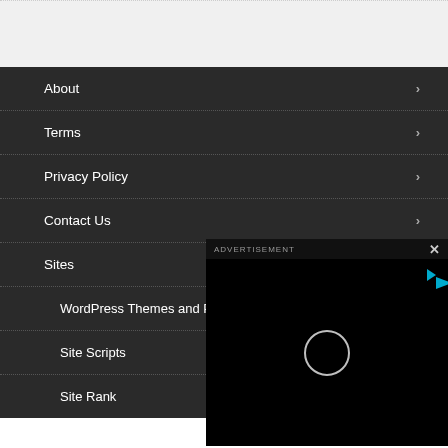About
Terms
Privacy Policy
Contact Us
Sites
WordPress Themes and P
Site Scripts
Site Rank
[Figure (screenshot): Advertisement overlay with black background, loading spinner circle, and blue triangle play indicator. Header shows 'ADVERTISEMENT' label and close X button.]